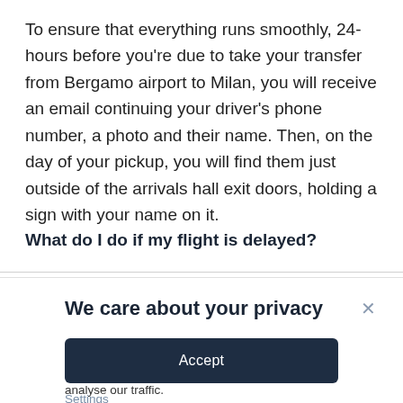To ensure that everything runs smoothly, 24-hours before you're due to take your transfer from Bergamo airport to Milan, you will receive an email continuing your driver's phone number, a photo and their name. Then, on the day of your pickup, you will find them just outside of the arrivals hall exit doors, holding a sign with your name on it.
What do I do if my flight is delayed?
We care about your privacy
We use cookies to personalise our content and ads, to provide social media features and to analyse our traffic.
Settings
Accept